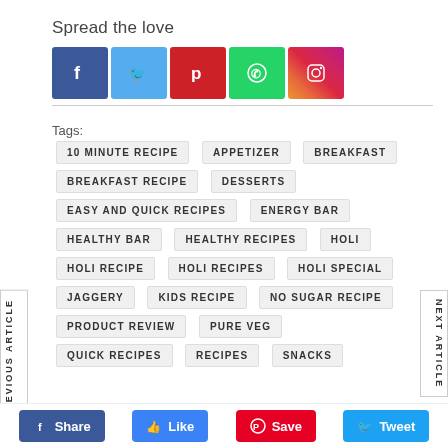Spread the love
[Figure (other): Social media share buttons: Facebook, Twitter, Pinterest, WhatsApp, Instagram]
Tags: 10 MINUTE RECIPE, APPETIZER, BREAKFAST, BREAKFAST RECIPE, DESSERTS, EASY AND QUICK RECIPES, ENERGY BAR, HEALTHY BAR, HEALTHY RECIPES, HOLI, HOLI RECIPE, HOLI RECIPES, HOLI SPECIAL, JAGGERY, KIDS RECIPE, NO SUGAR RECIPE, PRODUCT REVIEW, PURE VEG, QUICK RECIPES, RECIPES, SNACKS
Share  Like  Save  Tweet